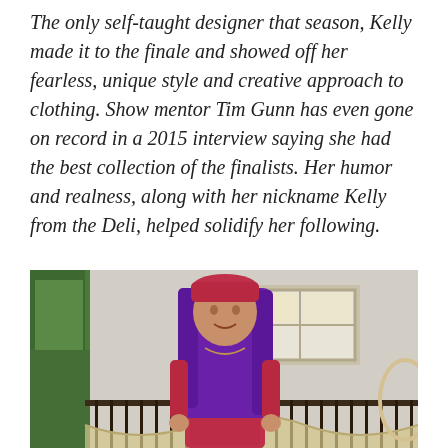The only self-taught designer that season, Kelly made it to the finale and showed off her fearless, unique style and creative approach to clothing. Show mentor Tim Gunn has even gone on record in a 2015 interview saying she had the best collection of the finalists. Her humor and realness, along with her nickname Kelly from the Deli, helped solidify her following.
[Figure (photo): Woman with long purple hair wearing a pink/red knit hat and matching pink/red textured jacket or coat, standing on a balcony with iron railings, in front of a light-colored wall with a window and green hedge visible.]